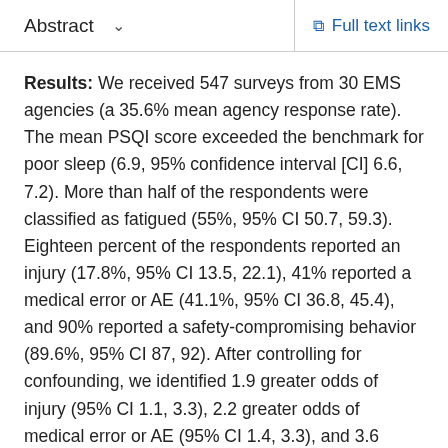Abstract   ∨   Full text links
Results: We received 547 surveys from 30 EMS agencies (a 35.6% mean agency response rate). The mean PSQI score exceeded the benchmark for poor sleep (6.9, 95% confidence interval [CI] 6.6, 7.2). More than half of the respondents were classified as fatigued (55%, 95% CI 50.7, 59.3). Eighteen percent of the respondents reported an injury (17.8%, 95% CI 13.5, 22.1), 41% reported a medical error or AE (41.1%, 95% CI 36.8, 45.4), and 90% reported a safety-compromising behavior (89.6%, 95% CI 87, 92). After controlling for confounding, we identified 1.9 greater odds of injury (95% CI 1.1, 3.3), 2.2 greater odds of medical error or AE (95% CI 1.4, 3.3), and 3.6 greater odds of safety-compromising behavior (95% CI 1.5, 8.3) among fatigued respondents versus nonfatigued respondents.
Conclusions: In this sample of EMS workers, poor sleep